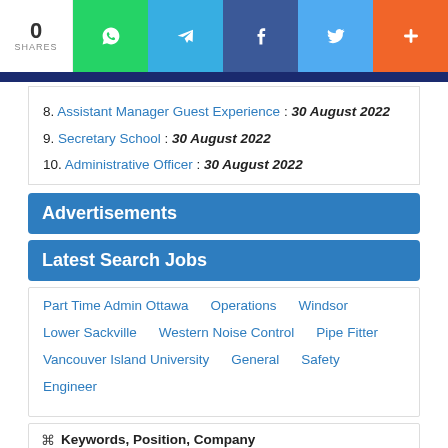0 SHARES — social share buttons (WhatsApp, Telegram, Facebook, Twitter, +)
8. Assistant Manager Guest Experience : 30 August 2022
9. Secretary School : 30 August 2022
10. Administrative Officer : 30 August 2022
Advertisements
Latest Search Jobs
Part Time Admin Ottawa   Operations   Windsor   Lower Sackville   Western Noise Control   Pipe Fitter   Vancouver Island University   General   Safety   Engineer
Keywords, Position, Company